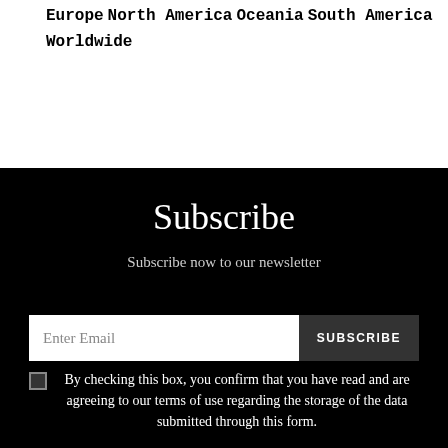Europe
North America
Oceania
South America
Worldwide
Subscribe
Subscribe now to our newsletter
Enter Email  SUBSCRIBE
By checking this box, you confirm that you have read and are agreeing to our terms of use regarding the storage of the data submitted through this form.